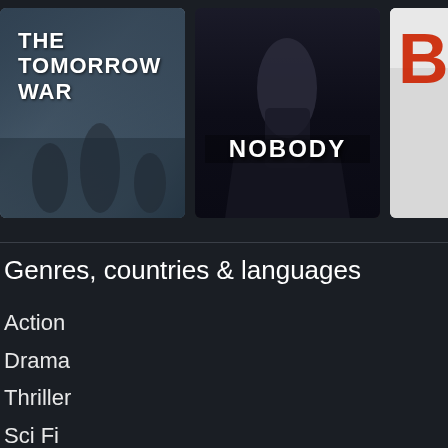[Figure (photo): Movie poster for 'The Tomorrow War' - dark blue/grey military themed poster with title text]
[Figure (photo): Movie poster for 'Nobody' - dark poster with person holding object, large NOBODY text]
[Figure (photo): Partially visible movie poster - white/light background with red letter 'B' visible]
Genres, countries & languages
Action
Drama
Thriller
Sci Fi
Adventure
Comedy
Documentary
Crime
Mystery